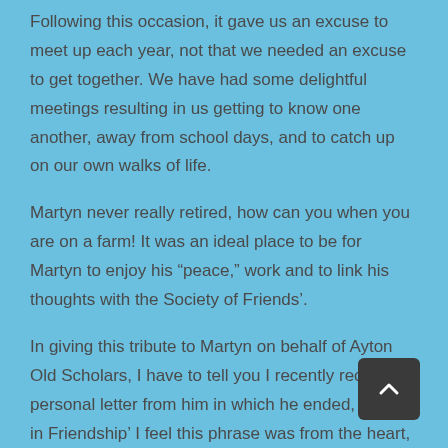Following this occasion, it gave us an excuse to meet up each year, not that we needed an excuse to get together. We have had some delightful meetings resulting in us getting to know one another, away from school days, and to catch up on our own walks of life.
Martyn never really retired, how can you when you are on a farm! It was an ideal place to be for Martyn to enjoy his “peace,” work and to link his thoughts with the Society of Friends’.
In giving this tribute to Martyn on behalf of Ayton Old Scholars, I have to tell you I recently received a personal letter from him in which he ended, ‘Yours in Friendship’ I feel this phrase was from the heart, and I